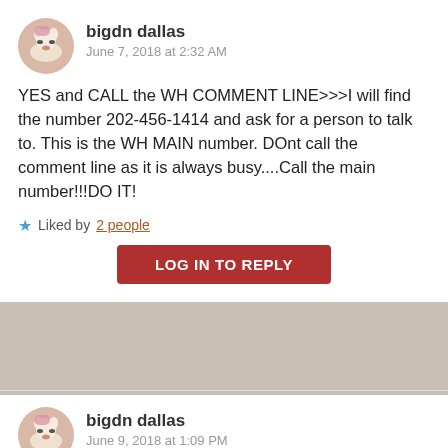bigdn dallas
June 7, 2018 at 2:32 AM
YES and CALL the WH COMMENT LINE>>>I will find the number 202-456-1414 and ask for a person to talk to. This is the WH MAIN number. DOnt call the comment line as it is always busy....Call the main number!!!DO IT!
Liked by 2 people
LOG IN TO REPLY
bigdn dallas
June 9, 2018 at 1:09 PM
WHAT they are really doing is EXTINTING THESE WILD HORSES> NEVER IN my life, (Ive owned